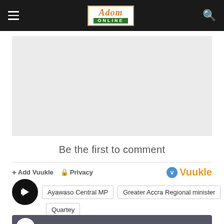Adom Online
[Figure (other): Advertisement placeholder area, light gray rectangle]
Be the first to comment
Add Vuukle  Privacy  Vuukle
Ayawaso Central MP
Greater Accra Regional minister
Quartey
[Figure (screenshot): ADOM TV video thumbnail: WASSCE Exams: 3 out of 966 can...]